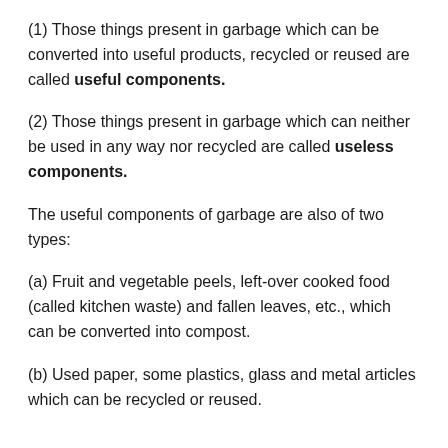(1) Those things present in garbage which can be converted into useful products, recycled or reused are called useful components.
(2) Those things present in garbage which can neither be used in any way nor recycled are called useless components.
The useful components of garbage are also of two types:
(a) Fruit and vegetable peels, left-over cooked food (called kitchen waste) and fallen leaves, etc., which can be converted into compost.
(b) Used paper, some plastics, glass and metal articles which can be recycled or reused.